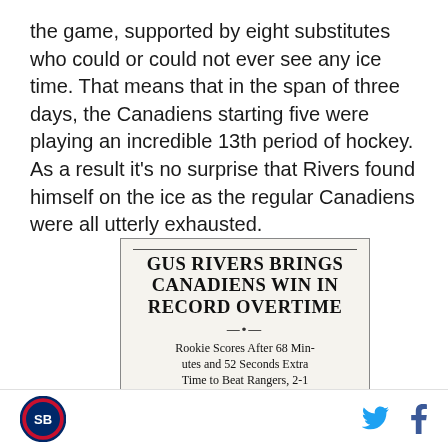the game, supported by eight substitutes who could or could not ever see any ice time. That means that in the span of three days, the Canadiens starting five were playing an incredible 13th period of hockey. As a result it's no surprise that Rivers found himself on the ice as the regular Canadiens were all utterly exhausted.
[Figure (photo): Newspaper clipping with headline 'GUS RIVERS BRINGS CANADIENS WIN IN RECORD OVERTIME' and subheadline 'Rookie Scores After 68 Minutes and 52 Seconds Extra Time to Beat Rangers, 2-1']
Logo icon | Twitter icon | Facebook icon